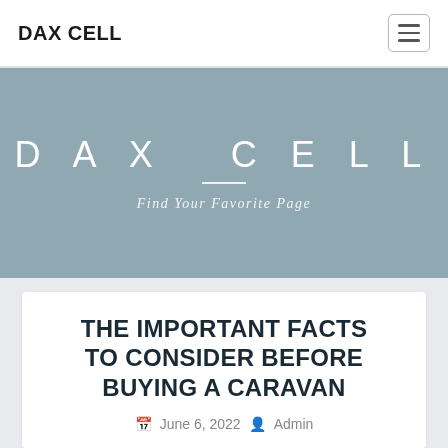DAX CELL
[Figure (logo): DAX CELL website hero banner with large spaced text 'DAX CELL' and subtitle 'Find Your Favorite Page' on a muted blue-grey background]
THE IMPORTANT FACTS TO CONSIDER BEFORE BUYING A CARAVAN
June 6, 2022  Admin